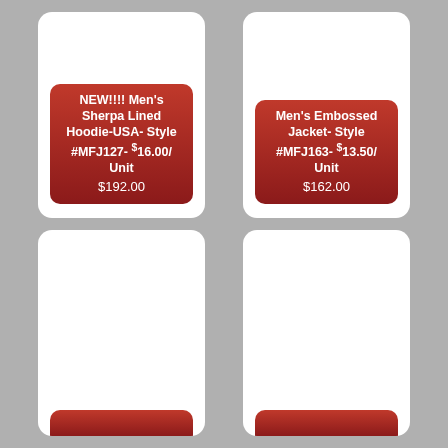[Figure (other): Product label card for NEW!!!! Men's Sherpa Lined Hoodie-USA- Style #MFJ127- $16.00/Unit at $192.00, shown as a white card with red gradient badge at bottom]
[Figure (other): Product label card for Men's Embossed Jacket- Style #MFJ163- $13.50/Unit at $162.00, shown as a white card with red gradient badge at bottom]
[Figure (other): Product label card (partially visible) bottom-left, with partial red badge at bottom edge]
[Figure (other): Product label card (partially visible) bottom-right, with partial red badge at bottom edge]